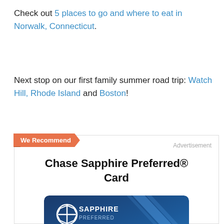Check out 5 places to go and where to eat in Norwalk, Connecticut.
Next stop on our first family summer road trip: Watch Hill, Rhode Island and Boston!
[Figure (infographic): Advertisement box for Chase Sapphire Preferred Card with 'We Recommend' ribbon banner and credit card image showing SAPPHIRE PREFERRED VISA card in blue metallic design]